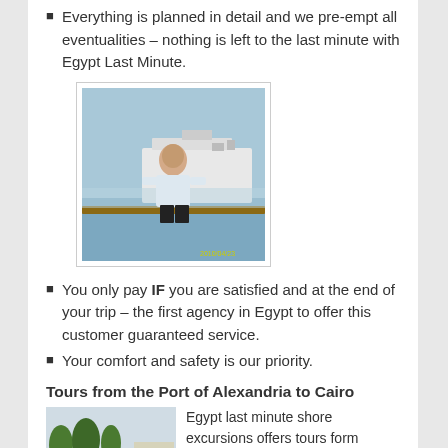Everything is planned in detail and we pre-empt all eventualities – nothing is left to the last minute with Egypt Last Minute.
[Figure (photo): A man standing on a cruise ship deck with large cruise ships in the background at a port, dated 2010/04/23]
You only pay IF you are satisfied and at the end of your trip – the first agency in Egypt to offer this customer guaranteed service.
Your comfort and safety is our priority.
Tours from the Port of Alexandria to Cairo
[Figure (photo): Archaeological ruins with columns and trees, likely in Alexandria Egypt]
Egypt last minute shore excursions offers tours form Alexandria port to Cairo to visit the pyramids, musuem, memphis, sakkara and castle of Mohamed Aly or you can enjoy day